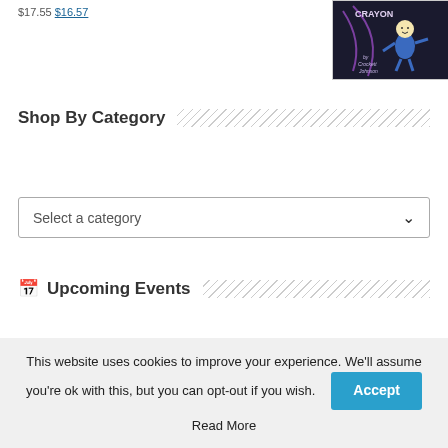$17.55 $16.57
[Figure (photo): Book cover for a children's book featuring a character in blue against a dark background with the word CRAYON and 'by Crockett Johnson']
Shop By Category
Select a category
Upcoming Events
This website uses cookies to improve your experience. We'll assume you're ok with this, but you can opt-out if you wish. Accept
Read More